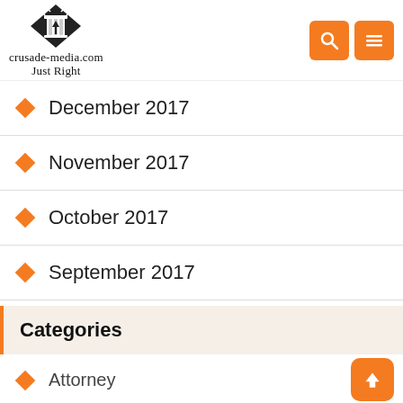crusade-media.com Just Right
December 2017
November 2017
October 2017
September 2017
Categories
Attorney